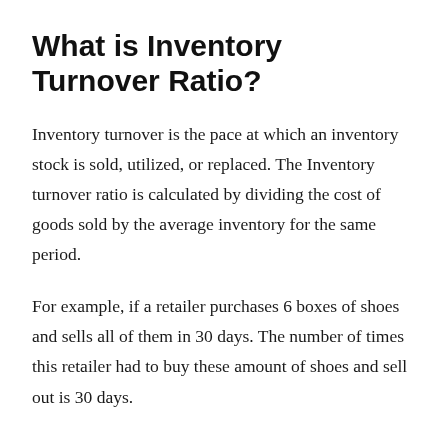What is Inventory Turnover Ratio?
Inventory turnover is the pace at which an inventory stock is sold, utilized, or replaced. The Inventory turnover ratio is calculated by dividing the cost of goods sold by the average inventory for the same period.
For example, if a retailer purchases 6 boxes of shoes and sells all of them in 30 days. The number of times this retailer had to buy these amount of shoes and sell out is 30 days.